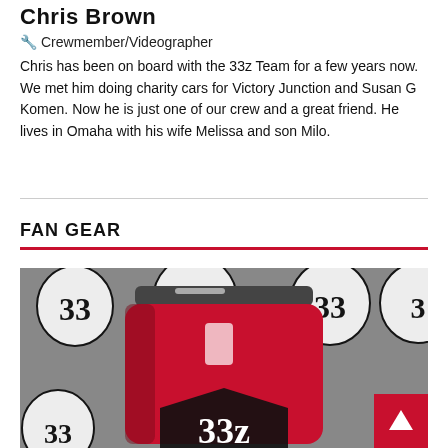Chris Brown
🔧 Crewmember/Videographer
Chris has been on board with the 33z Team for a few years now. We met him doing charity cars for Victory Junction and Susan G Komen. Now he is just one of our crew and a great friend. He lives in Omaha with his wife Melissa and son Milo.
FAN GEAR
[Figure (photo): A red tumbler/cup with the 33z racing logo on a grey background with 33z logos repeated as a pattern]